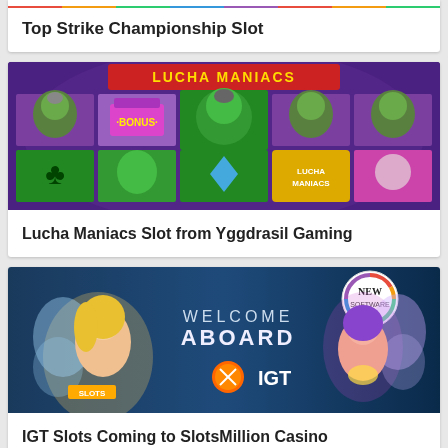[Figure (screenshot): Top partial card showing colorful slot game banner at top of page]
Top Strike Championship Slot
[Figure (screenshot): Lucha Maniacs slot game screenshot showing wrestling masked characters with BONUS symbol on purple background]
Lucha Maniacs Slot from Yggdrasil Gaming
[Figure (screenshot): IGT Welcome Aboard banner with fairy characters and IGT logo and NEW SOFTWARE badge]
IGT Slots Coming to SlotsMillion Casino